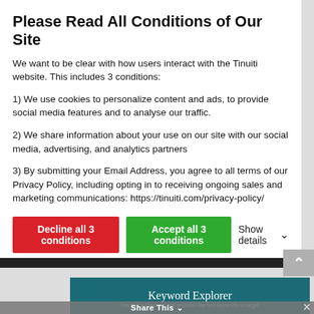Please Read All Conditions of Our Site
We want to be clear with how users interact with the Tinuiti website. This includes 3 conditions:
1) We use cookies to personalize content and ads, to provide social media features and to analyse our traffic.
2) We share information about your use on our site with our social media, advertising, and analytics partners
3) By submitting your Email Address, you agree to all terms of our Privacy Policy, including opting in to receiving ongoing sales and marketing communications: https://tinuiti.com/privacy-policy/
Decline all 3 conditions | Accept all 3 conditions | Show details
[Figure (screenshot): Bottom portion showing a dark navigation bar, a teal Keyword Explorer widget panel, and a Share This toolbar overlay at the bottom of the page.]